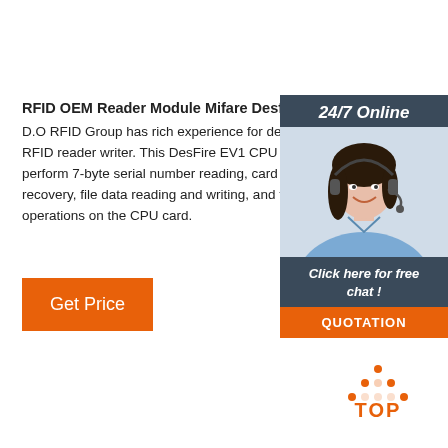RFID OEM Reader Module Mifare Desfire Ev1 Reader D.O
D.O RFID Group has rich experience for design and RFID reader writer. This DesFire EV1 CPU reader w perform 7-byte serial number reading, card initializa recovery, file data reading and writing, and file key m operations on the CPU card.
[Figure (photo): Customer service representative with headset, overlaid with 24/7 Online label, Click here for free chat text, and QUOTATION orange button on dark blue panel]
[Figure (other): TOP navigation button with orange dot triangle icon and orange TOP text]